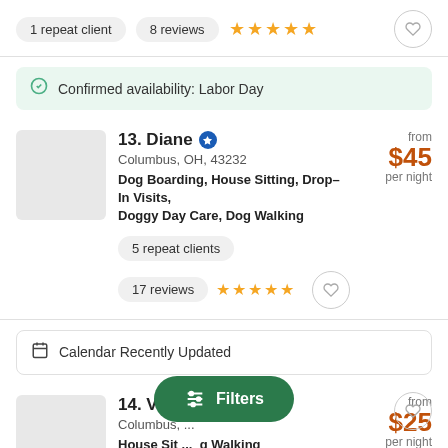1 repeat client · 8 reviews ★★★★★
Confirmed availability: Labor Day
13. Diane ✔ Columbus, OH, 43232 Dog Boarding, House Sitting, Drop–In Visits, Doggy Day Care, Dog Walking from $45 per night
5 repeat clients
17 reviews ★★★★★
Calendar Recently Updated
14. Vincent ✔ Columbus, ... House Sitting, ... Dog Walking from $25 per night
3 years of experience
Filters